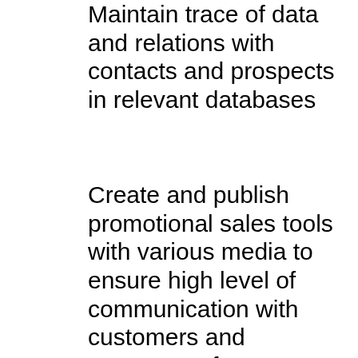Maintain trace of data and relations with contacts and prospects in relevant databases
Create and publish promotional sales tools with various media to ensure high level of communication with customers and prospects of CUBE projects
Report on sales activity, forecast, trends and budget status of projects to colleagues on a regular basis
Organize regular meetings and where necessary client events with relevant CUBE